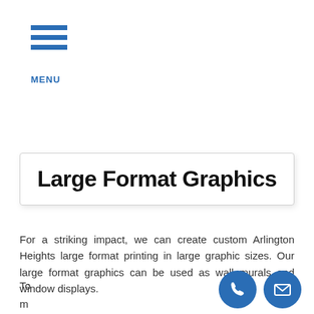MENU
Large Format Graphics
For a striking impact, we can create custom Arlington Heights large format printing in large graphic sizes. Our large format graphics can be used as wall murals and window displays.
To
m
ak
[Figure (illustration): Two circular blue contact icons: a phone handset icon and an envelope/email icon, positioned at bottom right.]